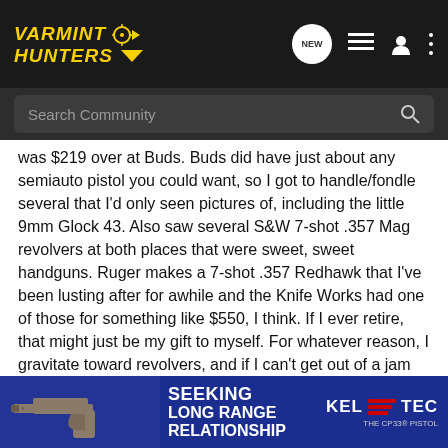Varmint Hunters
was $219 over at Buds. Buds did have just about any semiauto pistol you could want, so I got to handle/fondle several that I'd only seen pictures of, including the little 9mm Glock 43. Also saw several S&W 7-shot .357 Mag revolvers at both places that were sweet, sweet handguns. Ruger makes a 7-shot .357 Redhawk that I've been lusting after for awhile and the Knife Works had one of those for something like $550, I think. If I ever retire, that might just be my gift to myself. For whatever reason, I gravitate toward revolvers, and if I can't get out of a jam with seven rounds of .357, then I doubt the other 10-12 rounds a 9mm high-cap holds would have helped.
JR, if I'd known about your Italy trip a little farther ahead, I have several  ahead of you. On  this f
[Figure (advertisement): Kel-Tec advertisement: SEEKING LONG RANGE RELATIONSHIP featuring the CP33 pistol]